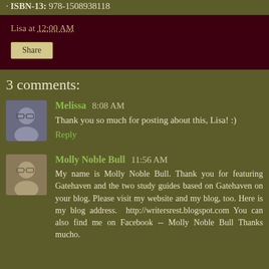ISBN-13: 978-1508938118
Lisa at 12:00 AM
Share
3 comments:
Melissa 8:08 AM
Thank you so much for posting about this, Lisa! :)
Reply
Molly Noble Bull 11:56 AM
My name is Molly Noble Bull. Thank you for featuring Gatehaven and the two study guides based on Gatehaven on your blog. Please visit my website and my blog, too. Here is my blog address. http://writersrest.blogspot.com You can also find me on Facebook -- Molly Noble Bull Thanks mucho.